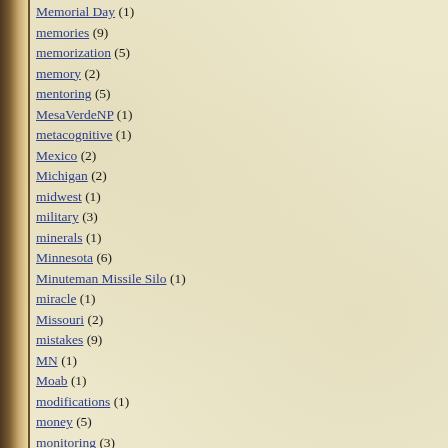Memorial Day (1)
memories (9)
memorization (5)
memory (2)
mentoring (5)
MesaVerdeNP (1)
metacognitive (1)
Mexico (2)
Michigan (2)
midwest (1)
military (3)
minerals (1)
Minnesota (6)
Minuteman Missile Silo (1)
miracle (1)
Missouri (2)
mistakes (9)
MN (1)
Moab (1)
modifications (1)
money (5)
monitoring (3)
Montana (9)
mood (1)
mother (4)
moths (1)
motivation (24)
movement (4)
movies (5)